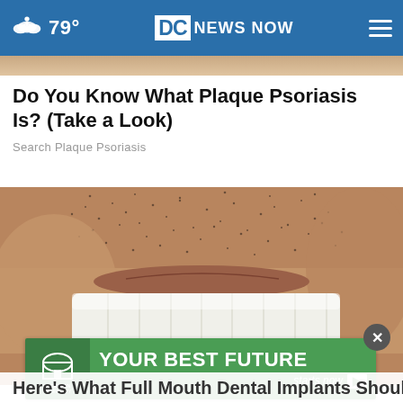79° DC NEWS NOW
Do You Know What Plaque Psoriasis Is? (Take a Look)
Search Plaque Psoriasis
[Figure (photo): Close-up photo of a man's smile showing bright white upper teeth with stubble facial hair visible above the upper lip]
[Figure (infographic): Advertisement for Jacktown Community College: 'YOUR BEST FUTURE starts now' with green background and college logo]
Here's What Full Mouth Dental Implants Should